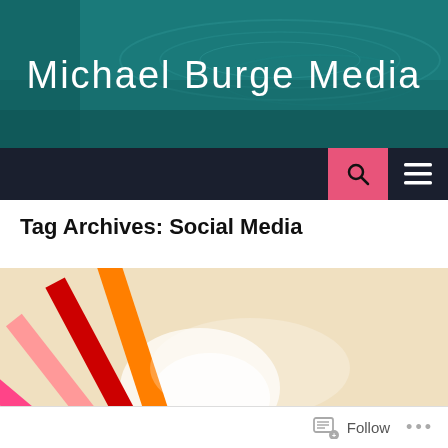Michael Burge Media
Tag Archives: Social Media
[Figure (photo): Circular arrangement of colorful pencil tips fanned out, showing rainbow of colors including red, orange, yellow, green, blue, purple, and pink]
Follow